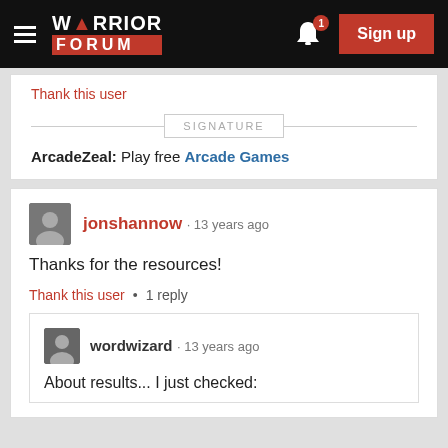WARRIOR FORUM — Sign up
Thank this user
SIGNATURE
ArcadeZeal: Play free Arcade Games
jonshannow · 13 years ago
Thanks for the resources!
Thank this user • 1 reply
wordwizard · 13 years ago
About results... I just checked: